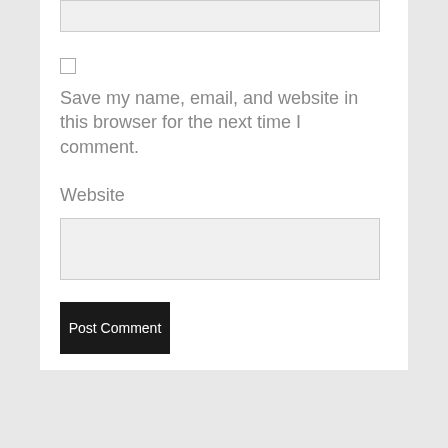Save my name, email, and website in this browser for the next time I comment.
Website
Post Comment